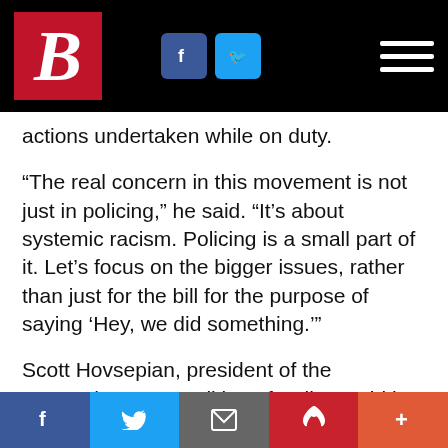B [logo] | Facebook | Twitter | Menu
actions undertaken while on duty.
“The real concern in this movement is not just in policing,” he said. “It’s about systemic racism. Policing is a small part of it. Let’s focus on the bigger issues, rather than just for the bill for the purpose of saying ‘Hey, we did something.’”
Scott Hovsepian, president of the Massachusetts Coalition of Police, said in a statement that police officers who act in good faith shouldn’t have to worry that “any
Facebook | Twitter | Email | Pinterest | +